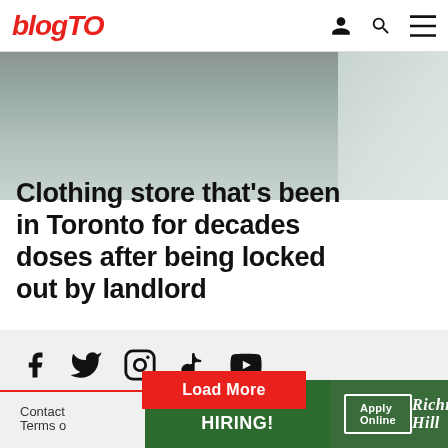blogTO
[Figure (photo): Partial view of a building exterior, likely a Toronto retail storefront]
Clothing store that's been in Toronto for decades doses after being locked out by landlord
Load More
[Figure (infographic): Social media icons: Facebook, Twitter, Instagram, TikTok, YouTube]
Contact
Terms o
[Figure (infographic): Richmond Hill job advertisement banner: WE'RE HIRING! Apply Online - Richmond Hill]